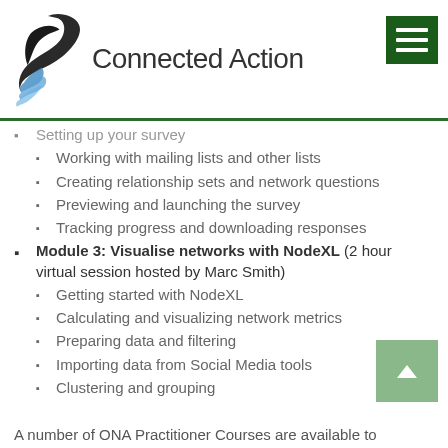[Figure (logo): Connected Action logo with bird/quill illustration and text 'Connected Action']
Setting up your survey
Working with mailing lists and other lists
Creating relationship sets and network questions
Previewing and launching the survey
Tracking progress and downloading responses
Module 3: Visualise networks with NodeXL (2 hour virtual session hosted by Marc Smith)
Getting started with NodeXL
Calculating and visualizing network metrics
Preparing data and filtering
Importing data from Social Media tools
Clustering and grouping
A number of ONA Practitioner Courses are available to